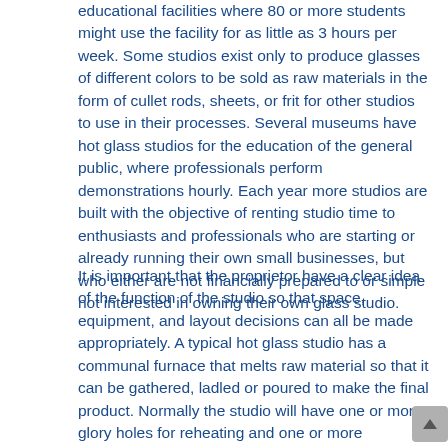educational facilities where 80 or more students might use the facility for as little as 3 hours per week. Some studios exist only to produce glasses of different colors to be sold as raw materials in the form of cullet rods, sheets, or frit for other studios to use in their processes. Several museums have hot glass studios for the education of the general public, where professionals perform demonstrations hourly. Each year more studios are built with the objective of renting studio time to enthusiasts and professionals who are starting or already running their own small businesses, but who either are not financially prepared to or simple not interested in owning their own glass studio.
It is important that the proprietor have a clear idea of the function of the studio so that space, equipment, and layout decisions can all be made appropriately. A typical hot glass studio has a communal furnace that melts raw material so that it can be gathered, ladled or poured to make the final product. Normally the studio will have one or more glory holes for reheating and one or more annealing oven to prevent the glass from developing and/or to relieve it from stress or thermal shock as it cools down to room temperature.